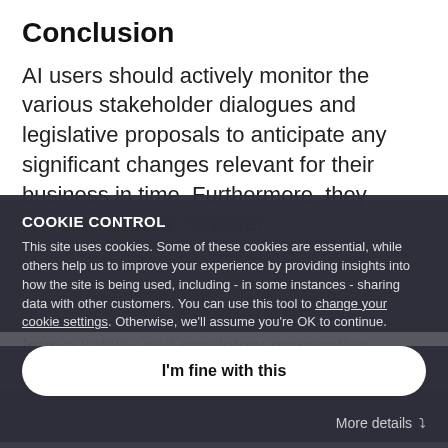Conclusion
AI users should actively monitor the various stakeholder dialogues and legislative proposals to anticipate any significant changes relevant for their business in time. Furthermore, they should carefully consider the latest guidelines issues by IP offices to AI related creations before seeking protection.
COOKIE CONTROL
This site uses cookies. Some of these cookies are essential, while others help us to improve your experience by providing insights into how the site is being used, including - in some instances - sharing data with other customers. You can use this tool to change your cookie settings. Otherwise, we'll assume you're OK to continue.
I'm fine with this
More details